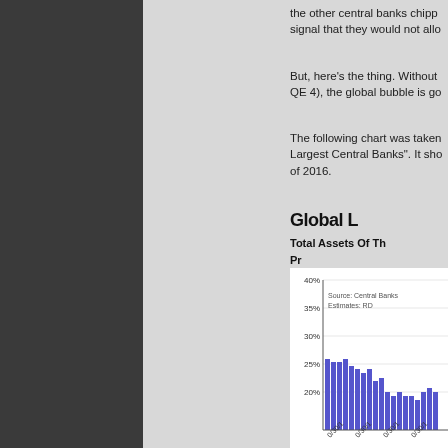the other central banks chipped in and signaled that they would not allow...
But, here's the thing. Without... QE 4), the global bubble is go...
The following chart was taken... Largest Central Banks". It sho... of 2016.
Global L...
Total Assets Of Th...
Pr...
[Figure (bar-chart): Global Liquidity - Total Assets Of The Largest Central Banks]